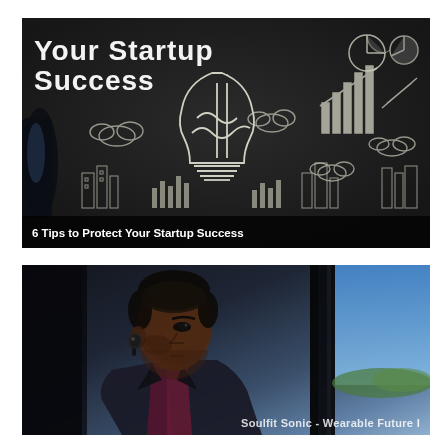[Figure (photo): Dark chalkboard background with a large glowing light bulb drawn in chalk, surrounded by business and startup icons including bar charts, pie charts, clouds, and city skyline silhouettes. A person's hand/arm is visible on the left edge. White chalk-style title text reads 'Your Startup Success' at the top.]
6 Tips to Protect Your Startup Success
[Figure (photo): A young Black man sitting in a car, wearing a wireless Bluetooth earpiece/earbud in his left ear, dressed in a dark blazer over a maroon shirt, looking forward with a serious expression. The car door and window frame are visible behind him, with daylight and blurred greenery visible through the window.]
Soulfit Sonic - Wearable Future I